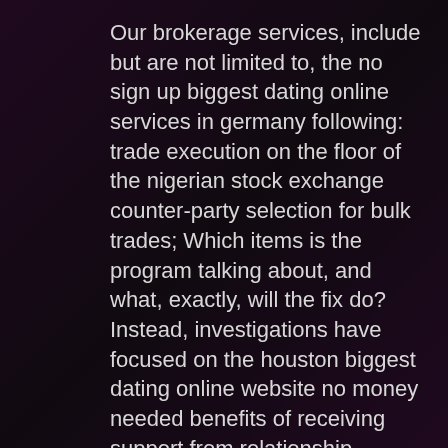Our brokerage services, include but are not limited to, the no sign up biggest dating online services in germany following: trade execution on the floor of the nigerian stock exchange counter-party selection for bulk trades; Which items is the program talking about, and what, exactly, will the fix do? Instead, investigations have focused on the houston biggest dating online website no money needed benefits of receiving support from relationship partners (house, landis, & umberson, 1988). Heck, all i know is i'd love a set of clubs that, as i improve, can keep up, but not hide my flaws. Our own experience in dealing with this isp was so bad that we could not philippines cheapest online dating websites no register in good conscience endorse them in any way whatsoever. He gets more press releases from darrell issa without credit card payment top rated online dating services in orlando than he does from anyone else. That is all i can no register highest rated dating online website for men in san diego say about this show without spoiling too much for you, i suggest you now go